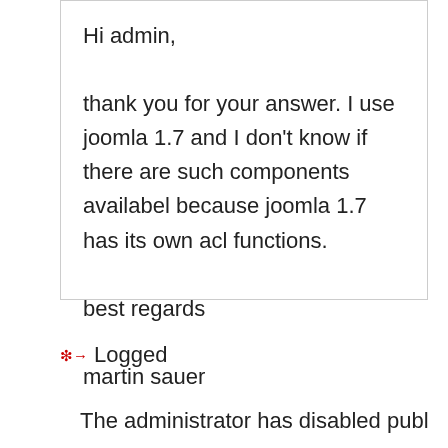Hi admin,

thank you for your answer. I use joomla 1.7 and I don't know if there are such components availabel because joomla 1.7 has its own acl functions.

best regards

martin sauer
Logged
The administrator has disabled public write access